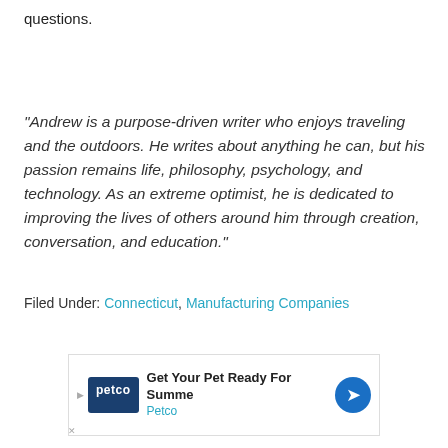questions.
“Andrew is a purpose-driven writer who enjoys traveling and the outdoors. He writes about anything he can, but his passion remains life, philosophy, psychology, and technology. As an extreme optimist, he is dedicated to improving the lives of others around him through creation, conversation, and education.”
Filed Under: Connecticut, Manufacturing Companies
[Figure (other): Advertisement banner for Petco: 'Get Your Pet Ready For Summe' with Petco logo and navigation arrow icon]